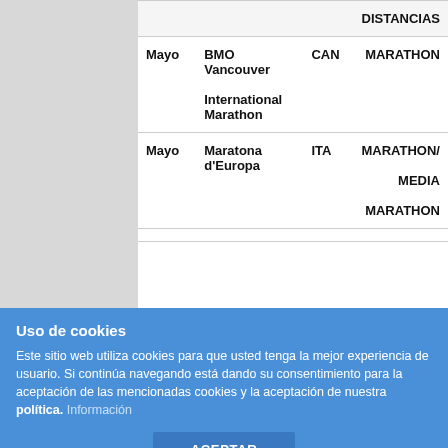|  |  |  | DISTANCIAS |
| --- | --- | --- | --- |
| Mayo | BMO Vancouver International Marathon | CAN | MARATHON |
| Mayo | Maratona d'Europa | ITA | MARATHON/ MEDIA MARATHON |
Uso de cookies
Este sitio web utiliza cookies para que usted tenga la mejor experiencia de usuario. Si continúa navegando está dando su consentimiento para la aceptación de las mencionadas cookies y la aceptación de nuestra política. Información
ACEPTAR